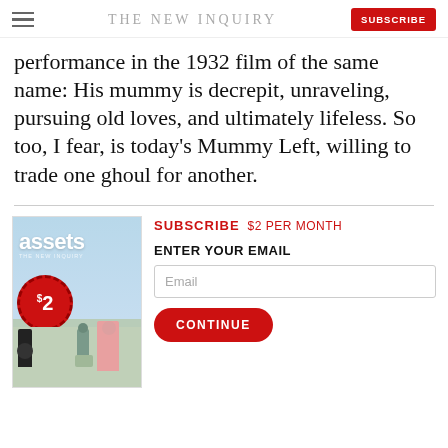THE NEW INQUIRY | SUBSCRIBE
performance in the 1932 film of the same name: His mummy is decrepit, unraveling, pursuing old loves, and ultimately lifeless. So too, I fear, is today's Mummy Left, willing to trade one ghoul for another.
[Figure (illustration): Magazine cover for 'assets' issue of The New Inquiry, showing a light blue background with the word 'assets' in white bold text, a red circular badge with '$2' written on it, and illustrated figures of people in a gallery-like setting.]
SUBSCRIBE $2 PER MONTH
ENTER YOUR EMAIL
Email
CONTINUE